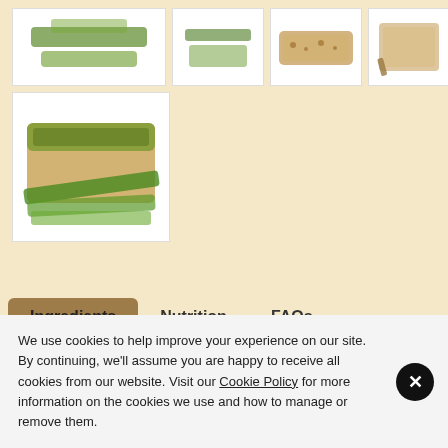[Figure (photo): Product thumbnail images of oat bars in a 2x2 grid plus one larger box image below-left, shown on a warm beige background]
Ingredients    Nutrition    FAQs
Gluten-Free OATS (35%), Margarine (Vegetable Oil (Sunflower, Rapeseed, Palm), Water, Salt, Emulsifiers (Sunflower Lecithins, Mono- and Diglycerides of Fatty Acids), Preservative (Potassium Sorbate), Acid (Lactic Acid), Vitamins (Niacin, B6, B2, Folic Acid,
We use cookies to help improve your experience on our site. By continuing, we'll assume you are happy to receive all cookies from our website. Visit our Cookie Policy for more information on the cookies we use and how to manage or remove them.